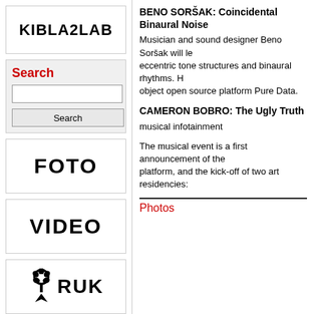[Figure (logo): KIBLA2LAB logo in bold black text]
[Figure (other): Search box with red Search label, text input, and Search button]
BENO SORŠAK: Coincidental Binaural Noise
Musician and sound designer Beno Soršak will lead eccentric tone structures and binaural rhythms. He used object open source platform Pure Data.
CAMERON BOBRO: The Ugly Truth
musical infotainment
The musical event is a first announcement of the platform, and the kick-off of two art residencies:
Photos
[Figure (logo): FOTO logo in bold black text]
[Figure (logo): VIDEO logo in bold black text]
[Figure (logo): RUK logo with tree/star icon and bold black text]